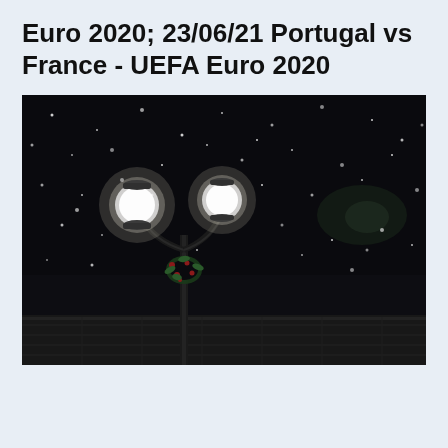Euro 2020; 23/06/21 Portugal vs France - UEFA Euro 2020
[Figure (photo): Night-time photograph of an ornate street lamp post with two globe lights illuminated, decorated with a Christmas wreath with red berries, surrounded by falling snow against a dark sky. In the background there is a faint greenish glow and a low stone building or wall.]